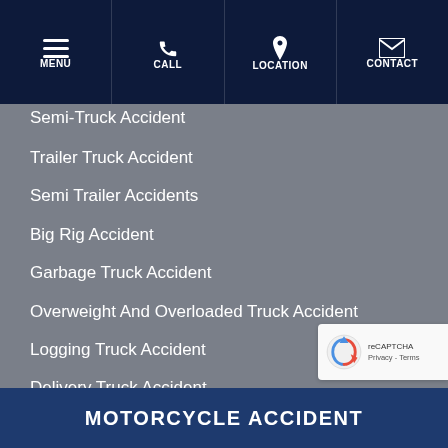MENU | CALL | LOCATION | CONTACT
Semi-Truck Accident
Trailer Truck Accident
Semi Trailer Accidents
Big Rig Accident
Garbage Truck Accident
Overweight And Overloaded Truck Accident
Logging Truck Accident
Delivery Truck Accident
Truck Driver Fatigue Accident
MOTORCYCLE ACCIDENT